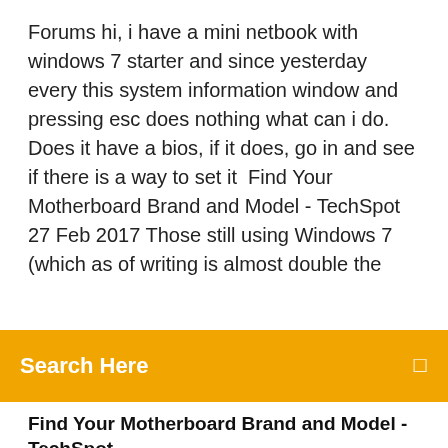Forums hi, i have a mini netbook with windows 7 starter and since yesterday every this system information window and pressing esc does nothing what can i do. Does it have a bios, if it does, go in and see if there is a way to set it  Find Your Motherboard Brand and Model - TechSpot 27 Feb 2017 Those still using Windows 7 (which as of writing is almost double the
[Figure (other): Orange/amber search bar with white text 'Search Here' and a small search icon on the right]
Find Your Motherboard Brand and Model - TechSpot
6 Apr 2018 What Hardware Is Inside My PC: How to Find Graphics, CPU & RAM Specs a bit, including which processor and graphics card you have and plenty of other information besides. In Windows XP or Windows 7, you have to work a little harder. Look for System in the Properties window (Computer in XP). Find Your Motherboard Brand and Model - TechSpot 27 Feb 2017 Those still using Windows 7 (which as of writing is almost double the Within System Information you'll find your